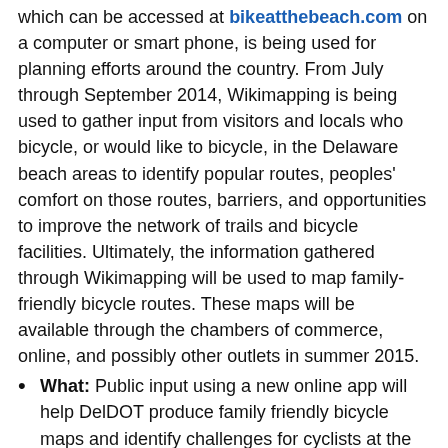which can be accessed at bikeatthebeach.com on a computer or smart phone, is being used for planning efforts around the country. From July through September 2014, Wikimapping is being used to gather input from visitors and locals who bicycle, or would like to bicycle, in the Delaware beach areas to identify popular routes, peoples' comfort on those routes, barriers, and opportunities to improve the network of trails and bicycle facilities. Ultimately, the information gathered through Wikimapping will be used to map family-friendly bicycle routes. These maps will be available through the chambers of commerce, online, and possibly other outlets in summer 2015.
What: Public input using a new online app will help DelDOT produce family friendly bicycle maps and identify challenges for cyclists at the Delaware beaches.
Where: Delaware beach communities. People can access the mapping application on any computer or smartphone at bikeatthebeach.com
When: During July, August, and September 2014, the